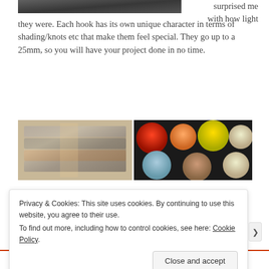[Figure (photo): Partial view of a dark furry/fuzzy textured image at the top left]
surprised me with how light they were. Each hook has its own unique character in terms of shading/knots etc that make them feel special. They go up to a 25mm, so you will have your project done in no time.
[Figure (photo): Two photos side by side: left shows stacked skeins of furry yarn in gray/brown tones; right shows colorful fluffy yarn balls in red, orange, yellow, cream, blue, brown colors]
Privacy & Cookies: This site uses cookies. By continuing to use this website, you agree to their use. To find out more, including how to control cookies, see here: Cookie Policy
Close and accept